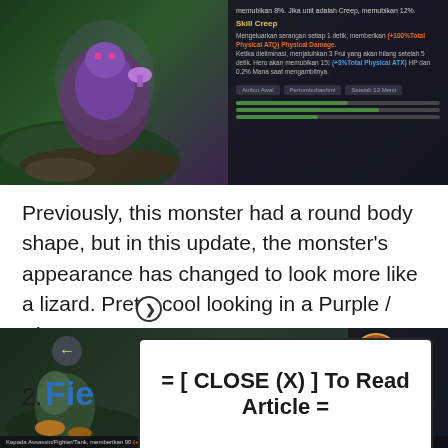[Figure (screenshot): Mobile Legends game screenshot showing a purple lizard-like monster on the left and game UI panel on the right with Skill Creep description text in Indonesian]
Previously, this monster had a round body shape, but in this update, the monster's appearance has changed to look more like a lizard. Pretty cool looking in a Purple / Blue Bu
[Figure (other): Modal dialog overlay with text: = [ CLOSE (X) ] To Read Article =]
2. Fie
[Figure (screenshot): Mobile Legends game screenshot showing bottom portion with game UI elements]